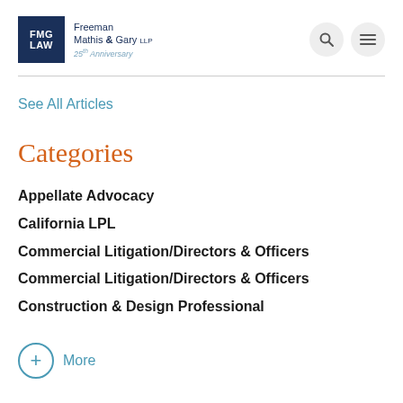[Figure (logo): FMG LAW - Freeman Mathis & Gary LLP 25th Anniversary logo with dark navy square and company name]
See All Articles
Categories
Appellate Advocacy
California LPL
Commercial Litigation/Directors & Officers
Commercial Litigation/Directors & Officers
Construction & Design Professional
+ More